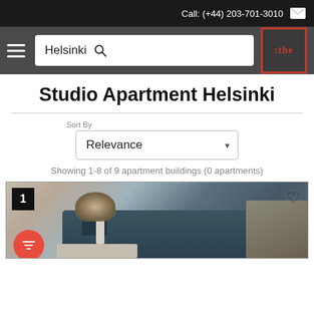Call: (+44) 203-701-3010
Helsinki
Studio Apartment Helsinki
Sort By
Relevance
Showing 1-8 of 9 apartment buildings (0 apartments)
[Figure (photo): Interior photo of a living room with a dark teal sofa, decorative flowers in a vase, and a coffee table. Badge showing number 1 in top left corner and a heart icon in top right. A red filter button is visible at the bottom left.]